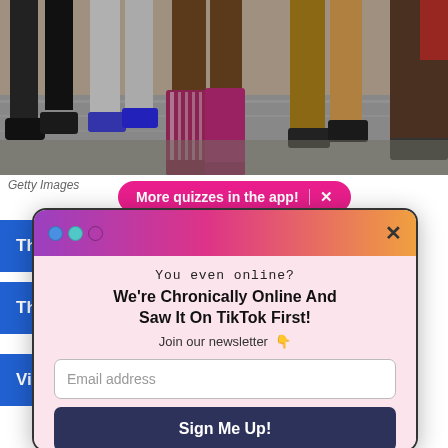[Figure (photo): Close-up photo of feet and shoes of multiple people walking on a sidewalk/pavement — various colorful boots and shoes visible including purple lace-up boots, blue shoes, dark boots.]
Getty Images
More quizzes in the app!  X
That's
That's
View R
[Figure (screenshot): Modal popup dialog with gradient pink/purple header, three colored dots top-left, X close button. Body text: 'You even online? We're Chronically Online And Saw It On TikTok First! Join our newsletter 👇'. Email address input field. 'Sign Me Up!' button in dark navy. 'No Thanks' underlined link.]